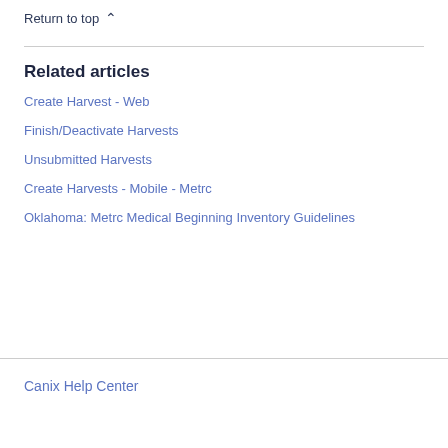Return to top ∧
Related articles
Create Harvest - Web
Finish/Deactivate Harvests
Unsubmitted Harvests
Create Harvests - Mobile - Metrc
Oklahoma: Metrc Medical Beginning Inventory Guidelines
Canix Help Center